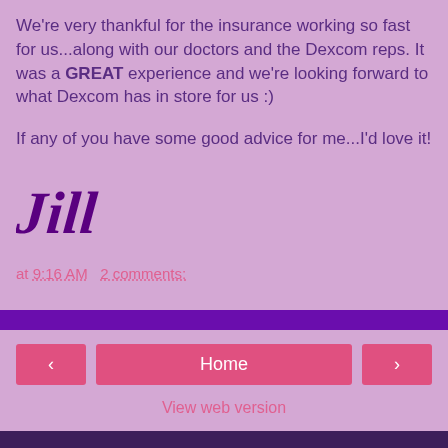We're very thankful for the insurance working so fast for us...along with our doctors and the Dexcom reps. It was a GREAT experience and we're looking forward to what Dexcom has in store for us :)
If any of you have some good advice for me...I'd love it!
[Figure (illustration): Cursive signature reading 'Jill' in dark purple]
at 9:16 AM    2 comments:
[Figure (screenshot): Navigation bar with left arrow, Home button, right arrow, and View web version link]
ABOUT ME
[Figure (illustration): Cartoon cupcake/muffin with colorful sprinkles on yellow frosting]
Jill
This blog is for me to share my experiences as the mother parenting a daughter living with Type 1 diabetes and a daughter living with hypoglycemia and